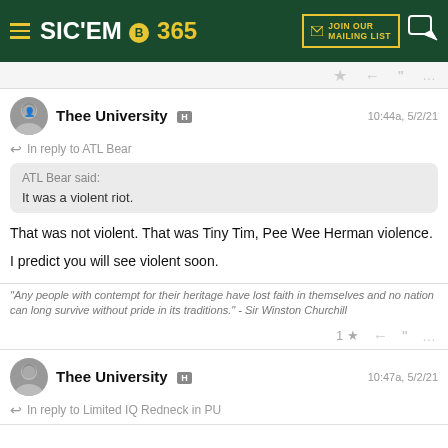SIC'EM 365 - JOIN OUR MAILING LIST
Thee University H  10:44a, 5/2/21
In reply to ATL Bear
ATL Bear said:
It was a violent riot.
That was not violent. That was Tiny Tim, Pee Wee Herman violence.

I predict you will see violent soon.
"Any people with contempt for their heritage have lost faith in themselves and no nation can long survive without pride in its traditions." - Sir Winston Churchill
Thee University H  10:47a, 5/2/21
In reply to Limited IQ Redneck in PU